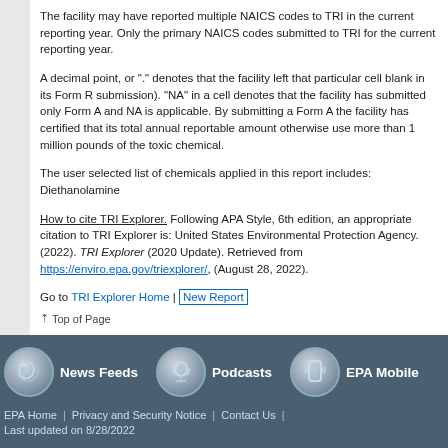The facility may have reported multiple NAICS codes to TRI in the current reporting year. Only the primary NAICS codes submitted to TRI for the current reporting year.
A decimal point, or "." denotes that the facility left that particular cell blank in its Form R submission). "NA" in a cell denotes that the facility has submitted only Form A and NA is applicable. By submitting a Form A the facility has certified that its total annual reportable amount otherwise use more than 1 million pounds of the toxic chemical.
The user selected list of chemicals applied in this report includes: Diethanolamine
How to cite TRI Explorer. Following APA Style, 6th edition, an appropriate citation to TRI Explorer is: United States Environmental Protection Agency. (2022). TRI Explorer (2020 Update). Retrieved from https://enviro.epa.gov/triexplorer/, (August 28, 2022).
Go to TRI Explorer Home | New Report
Top of Page
EPA Home | Privacy and Security Notice | Contact Us | Last updated on 8/28/2022